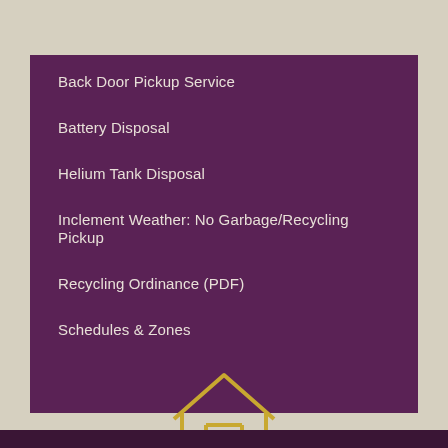Back Door Pickup Service
Battery Disposal
Helium Tank Disposal
Inclement Weather: No Garbage/Recycling Pickup
Recycling Ordinance (PDF)
Schedules & Zones
[Figure (illustration): House/home icon in golden-yellow outline style with a horizontal line beneath it]
Garbage & Recycling Home Page